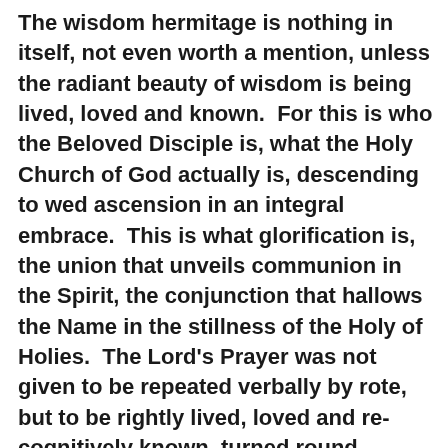The wisdom hermitage is nothing in itself, not even worth a mention, unless the radiant beauty of wisdom is being lived, loved and known.  For this is who the Beloved Disciple is, what the Holy Church of God actually is, descending to wed ascension in an integral embrace.  This is what glorification is, the union that unveils communion in the Spirit, the conjunction that hallows the Name in the stillness of the Holy of Holies.  The Lord's Prayer was not given to be repeated verbally by rote, but to be rightly lived, loved and re-cognitively known, turned round, unveiling uncreated light, revealing uncreated glory.

The wisdom hermitage is only a place of